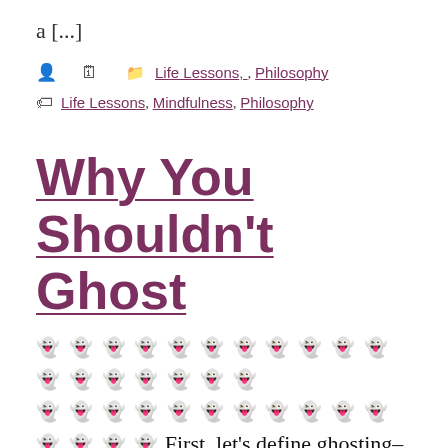a [...]
Life Lessons, Philosophy
Life Lessons, Mindfulness, Philosophy
Why You Shouldn't Ghost
👻👻👻👻👻👻👻👻👻👻👻👻👻👻👻👻👻👻👻👻👻👻👻👻👻👻👻👻👻👻👻👻👻 First, let's define ghosting– its essence is acting out of integrity. It's disappearing, not showing up.